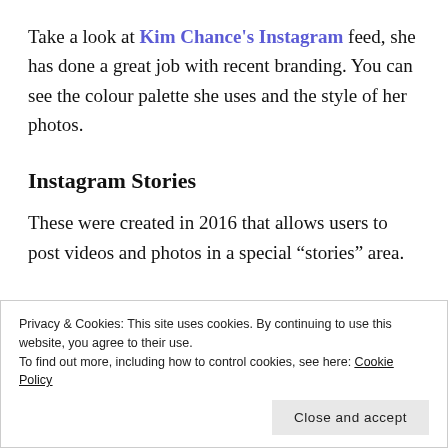Take a look at Kim Chance's Instagram feed, she has done a great job with recent branding.  You can see the colour palette she uses and the style of her photos.
Instagram Stories
These were created in 2016 that allows users to post videos and photos in a special “stories” area.
Privacy & Cookies: This site uses cookies. By continuing to use this website, you agree to their use.
To find out more, including how to control cookies, see here: Cookie Policy